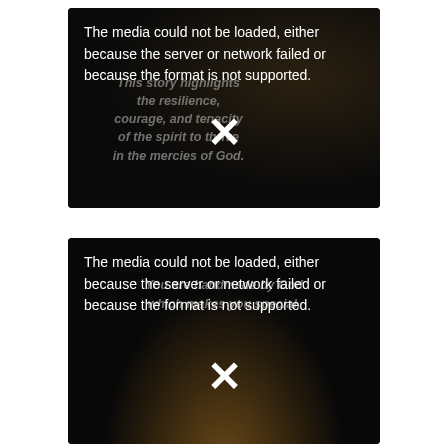[Figure (screenshot): Video player showing media load error with overlay text 'This story highlights the resilience, courage, and tenacity of the spirit to thrive in the mercies of God.' on dark background with silhouette. Error: The media could not be loaded, either because the server or network failed or because the format is not supported.]
[Figure (screenshot): Video player showing media load error with overlay text 'You are handmade by God which makes you special.' on dark background with light spot. Error: The media could not be loaded, either because the server or network failed or because the format is not supported.]